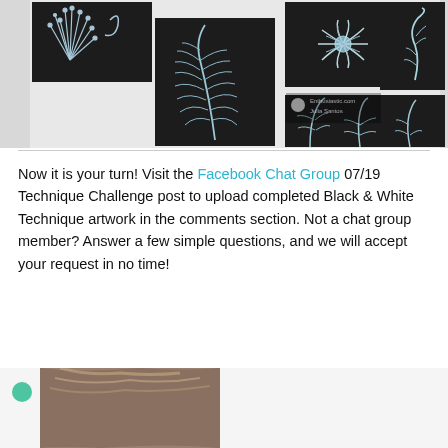[Figure (photo): Collage of botanical black and white scratch art images showing ferns, flowers, leaves, and swirling plant designs on dark backgrounds]
Now it is your turn! Visit the Facebook Chat Group 07/19 Technique Challenge post to upload completed Black & White Technique artwork in the comments section. Not a chat group member? Answer a few simple questions, and we will accept your request in no time!
[Figure (photo): Partial view of a person with brown/blonde hair, bottom of page]